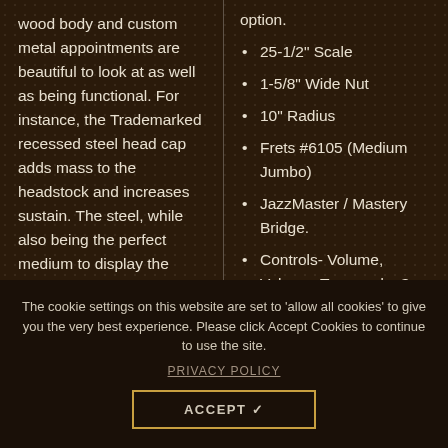wood body and custom metal appointments are beautiful to look at as well as being functional. For instance, the Trademarked recessed steel head cap adds mass to the headstock and increases sustain. The steel, while also being the perfect medium to display the beautiful Trussart custom finishes and engraving, also has tonal
option.
25-1/2" Scale
1-5/8" Wide Nut
10" Radius
Frets #6105 (Medium Jumbo)
JazzMaster / Mastery Bridge.
Controls- Volume, Volume, Tone and a 3-Way. Custom switching options
The cookie settings on this website are set to 'allow all cookies' to give you the very best experience. Please click Accept Cookies to continue to use the site.
PRIVACY POLICY
ACCEPT ✔